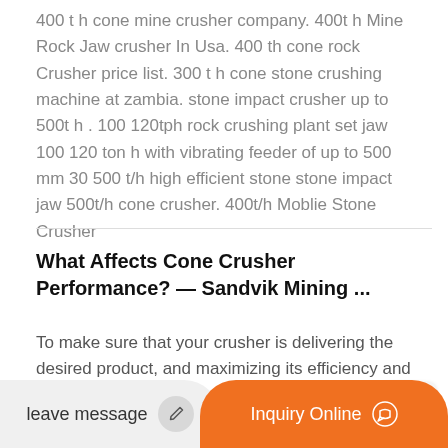400 t h cone mine crusher company. 400t h Mine Rock Jaw crusher In Usa. 400 th cone rock Crusher price list. 300 t h cone stone crushing machine at zambia. stone impact crusher up to 500t h . 100 120tph rock crushing plant set jaw 100 120 ton h with vibrating feeder of up to 500 mm 30 500 t/h high efficient stone stone impact jaw 500t/h cone crusher. 400t/h Moblie Stone Crusher
What Affects Cone Crusher Performance? — Sandvik Mining ...
To make sure that your crusher is delivering the desired product, and maximizing its efficiency and productivity, there are a few potential issues that you should be alert to. At Sandvik we have researched the factors that – if not properly addressed – can cause cone crushers.
leave message
Inquiry Online
Cone Crushers For Sale